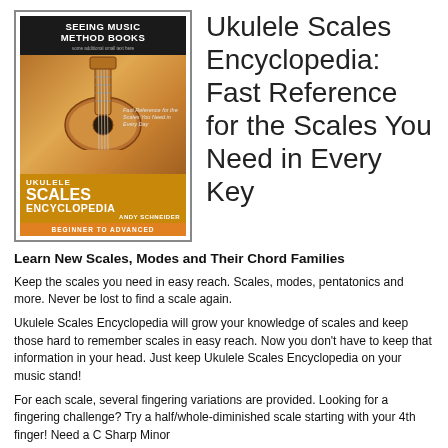[Figure (photo): Book cover for Ukulele Scales Encyclopedia by Andy Schneider, Seeing Music Method Books. Features a ukulele image, bold text, orange and black design, Beginner to Advanced label.]
Ukulele Scales Encyclopedia: Fast Reference for the Scales You Need in Every Key
Learn New Scales, Modes and Their Chord Families
Keep the scales you need in easy reach. Scales, modes, pentatonics and more. Never be lost to find a scale again.
Ukulele Scales Encyclopedia will grow your knowledge of scales and keep those hard to remember scales in easy reach. Now you don't have to keep that information in your head. Just keep Ukulele Scales Encyclopedia on your music stand!
For each scale, several fingering variations are provided. Looking for a fingering challenge? Try a half/whole-diminished scale starting with your 4th finger! Need a C Sharp Minor